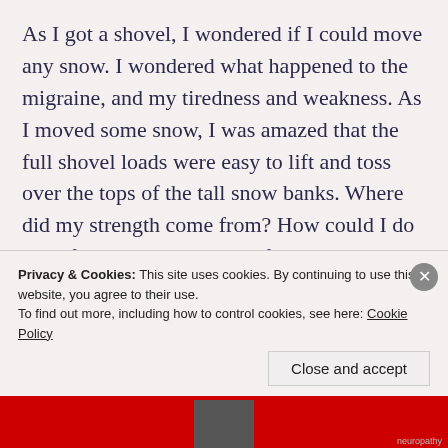As I got a shovel, I wondered if I could move any snow. I wondered what happened to the migraine, and my tiredness and weakness. As I moved some snow, I was amazed that the full shovel loads were easy to lift and toss over the tops of the tall snow banks. Where did my strength come from? How could I do this after spending the past few months in bed in a depression?
I cleared the entire end of the driveway, one minute
Privacy & Cookies: This site uses cookies. By continuing to use this website, you agree to their use.
To find out more, including how to control cookies, see here: Cookie Policy
Close and accept